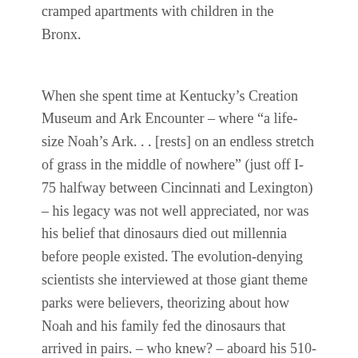cramped apartments with children in the Bronx.
When she spent time at Kentucky’s Creation Museum and Ark Encounter – where “a life-size Noah’s Ark. . . [rests] on an endless stretch of grass in the middle of nowhere” (just off I-75 halfway between Cincinnati and Lexington) – his legacy was not well appreciated, nor was his belief that dinosaurs died out millennia before people existed. The evolution-denying scientists she interviewed at those giant theme parks were believers, theorizing about how Noah and his family fed the dinosaurs that arrived in pairs. – who knew? – aboard his 510-foot-long ark, if their calculations are correct.
We meet Katrina, a beautiful young mother who is dying of cancer. Krasnostein was introduced to him by Annie, a death doula and a monk who had been married several times. It’s hard to decide who’s more interesting – the social activist mother of three with terminal cancer who tries to do everything right for her children, or Annie, who as part of her introduction to Krasnostein shared the notes of suicide